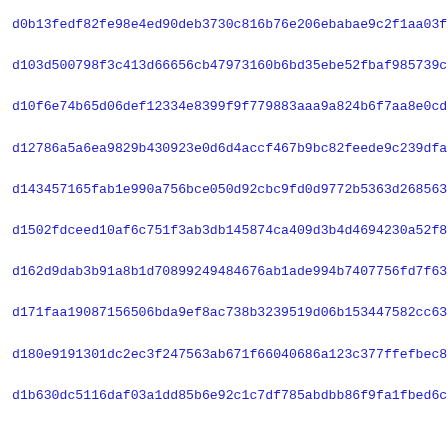d0b13fedf82fe98e4ed90deb3730c816b76e206ebabae9c2f1aa03fc9f273
d103d500798f3c413d66656cb47973160b6bd35ebe52fbaf985739cd0c272
d10f6e74b65d06def12334e8399f9f779883aaa9a824b6f7aa8e0cdbcbde3
d12786a5a6ea9829b430923e0d6d4accf467b9bc82feede9c239dfac4bdad
d143457165fab1e990a756bce050d92cbc9fd0d9772b5363d268563de3e41
d1502fdceed10af6c751f3ab3db145874ca409d3b4d4694230a52f81cc218
d162d9dab3b91a8b1d70899249484676ab1ade994b7407756fd7f632adc74
d171faa19087156506bda9ef8ac738b3239519d06b153447582cc636876d5
d180e9191301dc2ec3f247563ab671f66040686a123c377ffefbec8e741ae
d1b630dc5116daf03a1dd85b6e92c1c7df785abdbb86f9fa1fbed6c34d7ca